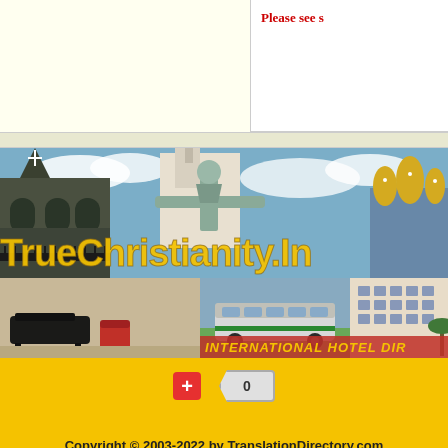Please see s
[Figure (illustration): TrueChristianity.In website banner with Christ the Redeemer statue, church steeples, and golden overlay text reading TrueChristianity.In]
[Figure (illustration): International Hotel Directory banner with hotel lobby interior, bus, and hotel exterior photos with red and dark text reading International Hotel Dire]
+   0
Copyright © 2003-2022 by TranslationDirectory.com
Legal Disclaimer
Site Map